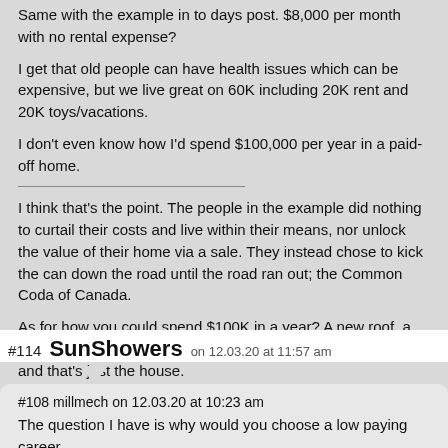Same with the example in to days post. $8,000 per month with no rental expense?
I get that old people can have health issues which can be expensive, but we live great on 60K including 20K rent and 20K toys/vacations.
I don't even know how I'd spend $100,000 per year in a paid-off home.
I think that's the point. The people in the example did nothing to curtail their costs and live within their means, nor unlock the value of their home via a sale. They instead chose to kick the can down the road until the road ran out; the Common Coda of Canada.
As for how you could spend $100K in a year? A new roof, a flooded basement, and foundation repairs can add up quickly, and that's just the house.
#114 SunShowers on 12.03.20 at 11:57 am
#108 millmech on 12.03.20 at 10:23 am
The question I have is why would you choose a low paying career